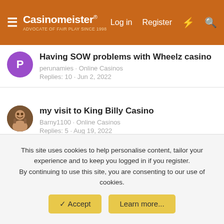Casinomeister | Log in | Register
Having SOW problems with Wheelz casino — perunamies · Online Casinos — Replies: 10 · Jun 2, 2022
my visit to King Billy Casino — Barny1100 · Online Casinos — Replies: 5 · Aug 19, 2022
Ignition disabled account, revoked funds. — RichardHorne · Online Casinos — Replies: 4 · May 22, 2022
Videoslots withdrawal — jjezebel37 · Online Casinos — Replies: 21 · Jul 6, 2022
This site uses cookies to help personalise content, tailor your experience and to keep you logged in if you register.
By continuing to use this site, you are consenting to our use of cookies.